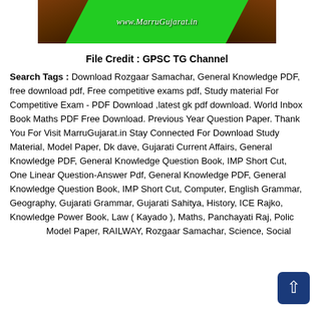[Figure (photo): Green banner with temple/gopuram architectural elements on left and right sides and text 'www.MarruGujarat.in' in the center]
File Credit : GPSC TG Channel
Search Tags : Download Rozgaar Samachar, General Knowledge PDF, free download pdf, Free competitive exams pdf, Study material For Competitive Exam - PDF Download ,latest gk pdf download. World Inbox Book Maths PDF Free Download. Previous Year Question Paper. Thank You For Visit MarruGujarat.in Stay Connected For Download Study Material, Model Paper, Dk dave, Gujarati Current Affairs, General Knowledge PDF, General Knowledge Question Book, IMP Short Cut, One Linear Question-Answer Pdf, General Knowledge PDF, General Knowledge Question Book, IMP Short Cut, Computer, English Grammar, Geography, Gujarati Grammar, Gujarati Sahitya, History, ICE Rajko, Knowledge Power Book, Law ( Kayado ), Maths, Panchayati Raj, Police Model Paper, RAILWAY, Rozgaar Samachar, Science, Social